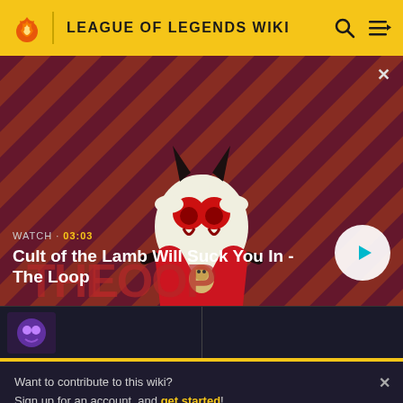LEAGUE OF LEGENDS WIKI
[Figure (screenshot): Video thumbnail showing Cult of the Lamb character on a red diagonal striped background with THE LOOP text overlay]
WATCH • 03:03
Cult of the Lamb Will Suck You In - The Loop
Want to contribute to this wiki? Sign up for an account, and get started! You can even turn off ads in your preferences.